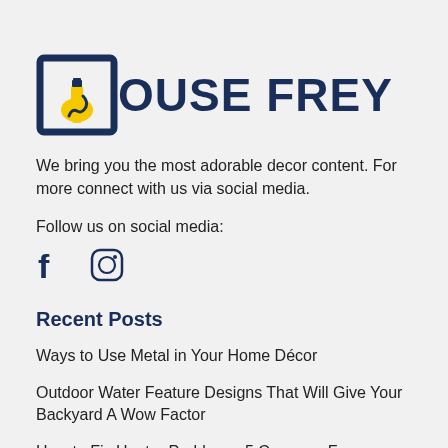[Figure (logo): House Frey logo: dark navy bracket/flask icon on the left, followed by bold navy text 'OUSE FREY']
We bring you the most adorable decor content. For more connect with us via social media.
Follow us on social media:
[Figure (other): Facebook and Instagram social media icons]
Recent Posts
Ways to Use Metal in Your Home Décor
Outdoor Water Feature Designs That Will Give Your Backyard A Wow Factor
How to Fix Heater Problems: 5 Common Furnace Issues